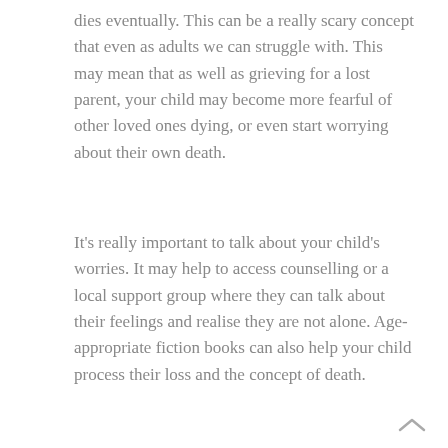dies eventually. This can be a really scary concept that even as adults we can struggle with. This may mean that as well as grieving for a lost parent, your child may become more fearful of other loved ones dying, or even start worrying about their own death.
It's really important to talk about your child's worries. It may help to access counselling or a local support group where they can talk about their feelings and realise they are not alone. Age-appropriate fiction books can also help your child process their loss and the concept of death.